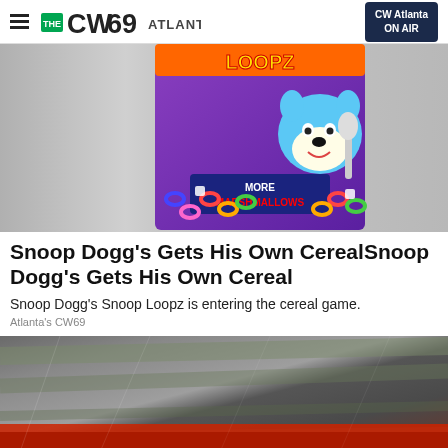THE CW69 ATLANTA | CW Atlanta ON AIR
[Figure (photo): Snoop Loopz cereal box with cartoon wolf mascot holding a spoon, colorful cereal loops and marshmallows, purple background, text reading MORE MARSHMALLOWS]
Snoop Dogg's Gets His Own CerealSnoop Dogg's Gets His Own Cereal
Snoop Dogg's Snoop Loopz is entering the cereal game.
Atlanta's CW69
[Figure (photo): Blurred motion photo of a red car driving on a road with trees and rocky terrain in background]